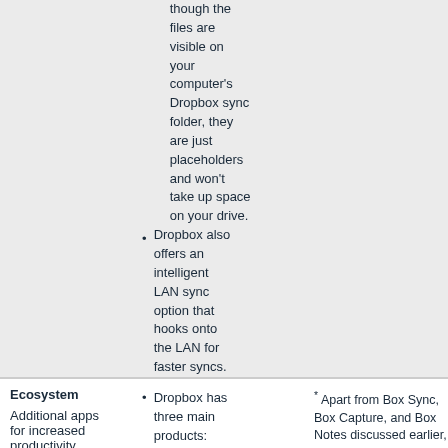though the files are visible on your computer's Dropbox sync folder, they are just placeholders and won't take up space on your drive.
Dropbox also offers an intelligent LAN sync option that hooks onto the LAN for faster syncs.
Ecosystem
Additional apps for increased productivity
Dropbox has three main products: Dropbox Plus (Dropbox with 1 TB storage), Dropbox
* Apart from Box Sync, Box Capture, and Box Notes discussed earlier, Box offers Box Skills (adds AI to business processes), Box Drive (repository), Box Sign